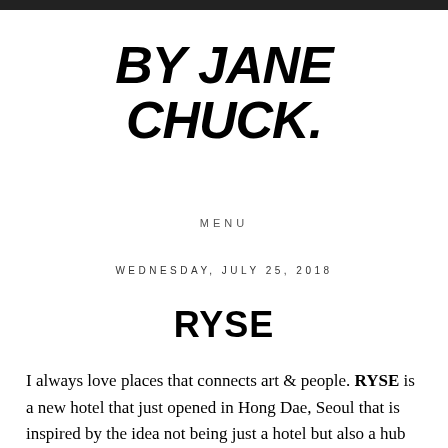BY JANE CHUCK.
MENU
WEDNESDAY, JULY 25, 2018
RYSE
I always love places that connects art & people. RYSE is a new hotel that just opened in Hong Dae, Seoul that is inspired by the idea not being just a hotel but also a hub for art & creativity from